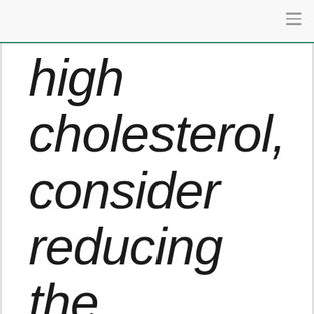high cholesterol, consider reducing the cholesterol even more by using a